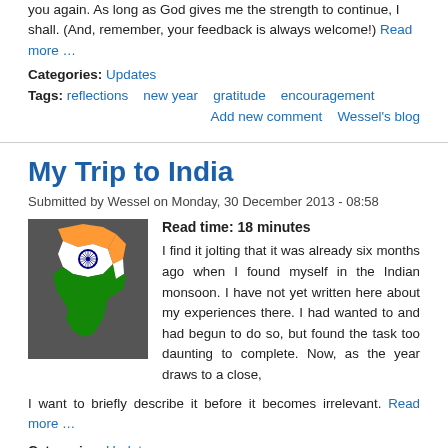you again. As long as God gives me the strength to continue, I shall. (And, remember, your feedback is always welcome!) Read more …
Categories: Updates
Tags: reflections   new year   gratitude   encouragement
Add new comment   Wessel's blog
My Trip to India
Submitted by Wessel on Monday, 30 December 2013 - 08:58
Read time: 18 minutes
[Figure (illustration): Map of India colored with saffron/orange at top, white in middle with blue Ashoka Chakra wheel, and green at bottom, on a dark gray background.]
I find it jolting that it was already six months ago when I found myself in the Indian monsoon. I have not yet written here about my experiences there. I had wanted to and had begun to do so, but found the task too daunting to complete. Now, as the year draws to a close, I want to briefly describe it before it becomes irrelevant. Read more …
Categories: Updates
Tags: